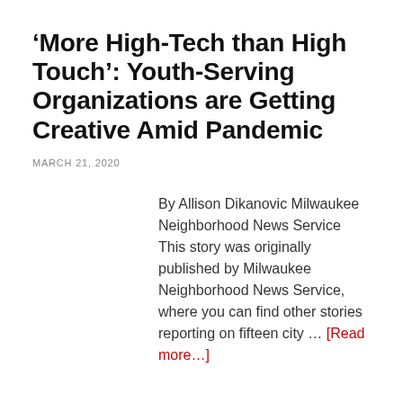‘More High-Tech than High Touch’: Youth-Serving Organizations are Getting Creative Amid Pandemic
MARCH 21, 2020
By Allison Dikanovic Milwaukee Neighborhood News Service This story was originally published by Milwaukee Neighborhood News Service, where you can find other stories reporting on fifteen city … [Read more…]